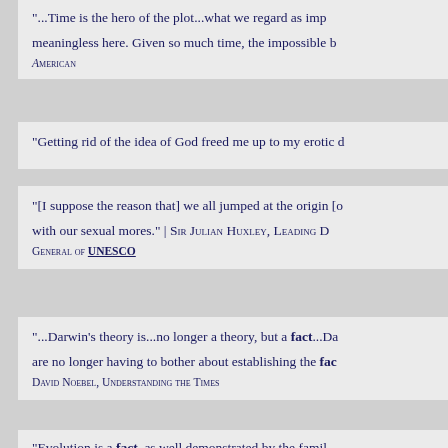“...Time is the hero of the plot...what we regard as impossible here. Given so much time, the impossible b[ecomes possible]
AMERICAN
“Getting rid of the idea of God freed me up to my erotic d[esires]
“[I suppose the reason that] we all jumped at the origin [of species] with our sexual mores.” | SIR JULIAN HUXLEY, LEADING [DIRECTOR] GENERAL OF UNESCO
“...Darwin’s theory is...no longer a theory, but a fact...Da[rwinians] are no longer having to bother about establishing the fac[t]
DAVID NOEBEL, UNDERSTANDING THE TIMES
“Evolution is a fact, as well demonstrated by the famil[y]